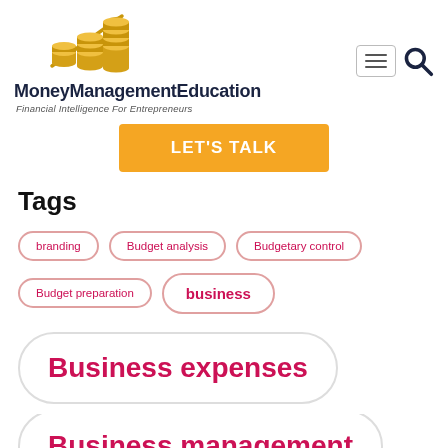[Figure (logo): MoneyManagementEducation logo with gold coin stacks and upward arrow, site name in dark bold text, subtitle 'Financial Intelligence For Entrepreneurs' in italic]
LET'S TALK
Tags
branding
Budget analysis
Budgetary control
Budget preparation
business
Business expenses
Business management